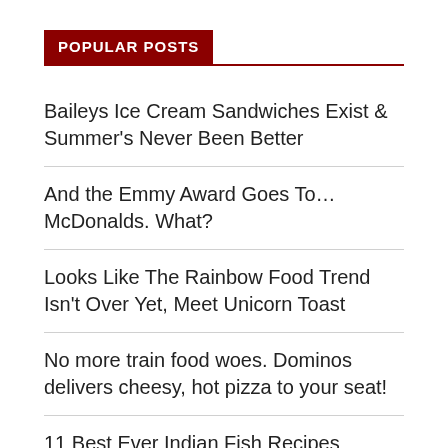POPULAR POSTS
Baileys Ice Cream Sandwiches Exist & Summer's Never Been Better
And the Emmy Award Goes To…McDonalds. What?
Looks Like The Rainbow Food Trend Isn't Over Yet, Meet Unicorn Toast
No more train food woes. Dominos delivers cheesy, hot pizza to your seat!
11 Best Ever Indian Fish Recipes Everyone Should